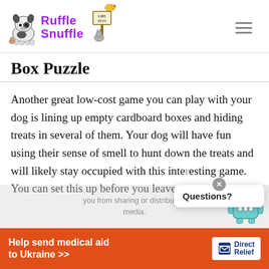Ruffle Snuffle — Life Pets logo and navigation
Box Puzzle
Another great low-cost game you can play with your dog is lining up empty cardboard boxes and hiding treats in several of them. Your dog will have fun using their sense of smell to hunt down the treats and will likely stay occupied with this inte… game. You can set this up before you leave
[Figure (other): Ad banner: Help send medical aid to Ukraine >> Direct Relief logo]
[Figure (other): Questions? popup chat widget with robot icon]